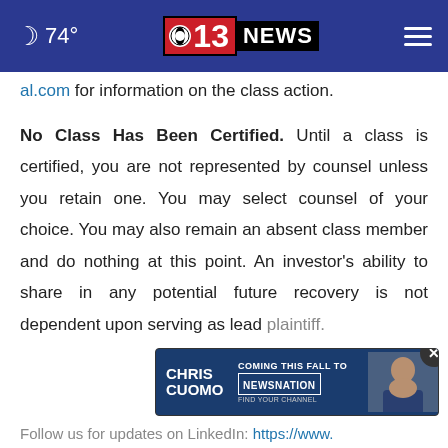74° CBS 13 NEWS
al.com for information on the class action.
No Class Has Been Certified. Until a class is certified, you are not represented by counsel unless you retain one. You may select counsel of your choice. You may also remain an absent class member and do nothing at this point. An investor's ability to share in any potential future recovery is not dependent upon serving as lead plaintiff.
[Figure (screenshot): Chris Cuomo advertisement banner: 'COMING THIS FALL TO NEWSNATION - FIND YOUR CHANNEL' with photo of Chris Cuomo]
Follow us for updates on LinkedIn: https://www.